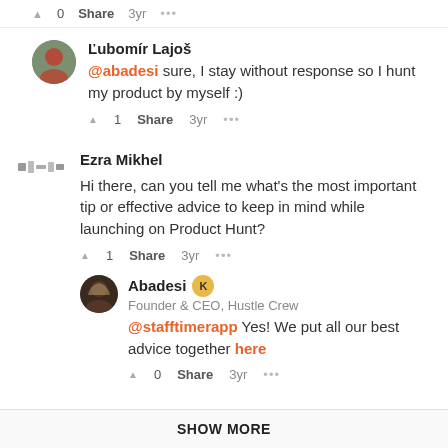▲ 0   Share   3yr   •••
Ľubomír Lajoš
@abadesi sure, I stay without response so I hunt my product by myself :)
▲ 1   Share   3yr   •••
Ezra Mikhel
Hi there, can you tell me what's the most important tip or effective advice to keep in mind while launching on Product Hunt?
▲ 1   Share   3yr   •••
Abadesi K
Founder & CEO, Hustle Crew
@stafftimerapp Yes! We put all our best advice together here
▲ 0   Share   3yr   •••
SHOW MORE